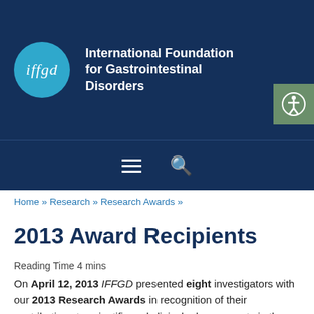International Foundation for Gastrointestinal Disorders
Home » Research » Research Awards »
2013 Award Recipients
Reading Time 4 mins
On April 12, 2013 IFFGD presented eight investigators with our 2013 Research Awards in recognition of their contributions to scientific and clinical advancements in the area of functional gastrointestinal (GI) and motility